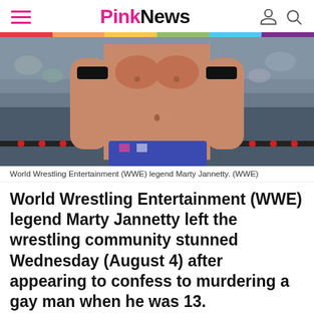PinkNews
[Figure (photo): Shirtless WWE wrestler Marty Jannetty standing in a wrestling ring with red ropes, wearing black arm bands and blue trunks, audience visible in background.]
World Wrestling Entertainment (WWE) legend Marty Jannetty. (WWE)
World Wrestling Entertainment (WWE) legend Marty Jannetty left the wrestling community stunned Wednesday (August 4) after appearing to confess to murdering a gay man when he was 13.